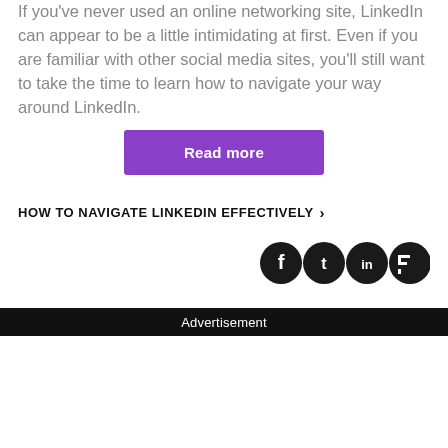If you've never used an online networking site, LinkedIn can appear to be a little intimidating at first. Even if you are familiar with other social media sites, you'll still want to take the time to learn how to navigate your way around LinkedIn.
Read more
HOW TO NAVIGATE LINKEDIN EFFECTIVELY ›
[Figure (illustration): Row of four social media icon circles (Facebook, Twitter, LinkedIn, Flipboard) in dark/black color]
Advertisement